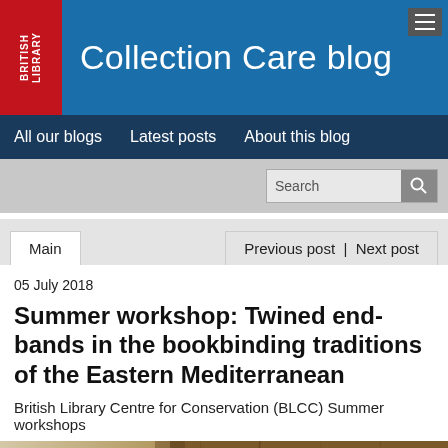Collection Care blog
All our blogs  Latest posts  About this blog
Summer workshop: Twined end-bands in the bookbinding traditions of the Eastern Mediterranean
05 July 2018
British Library Centre for Conservation (BLCC) Summer workshops
[Figure (photo): Close-up photograph of old bookbinding spines showing twined end-bands on leather-covered books]